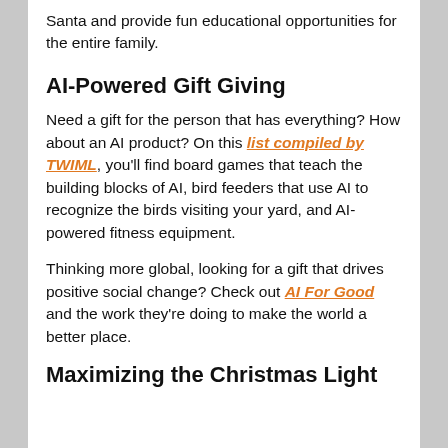Santa and provide fun educational opportunities for the entire family.
AI-Powered Gift Giving
Need a gift for the person that has everything? How about an AI product? On this list compiled by TWIML, you'll find board games that teach the building blocks of AI, bird feeders that use AI to recognize the birds visiting your yard, and AI-powered fitness equipment.
Thinking more global, looking for a gift that drives positive social change? Check out AI For Good and the work they're doing to make the world a better place.
Maximizing the Christmas Light